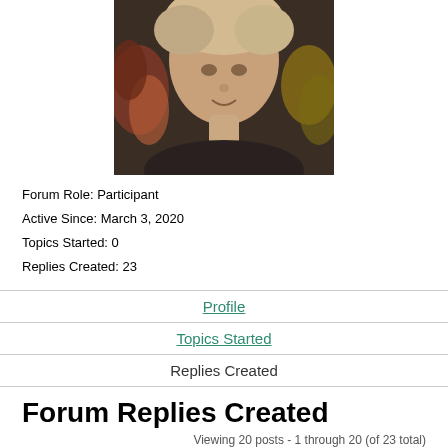[Figure (photo): Profile avatar photo showing a person with decorative/artistic background with floral elements, appears to be a filtered or painted-style portrait photo]
Forum Role: Participant
Active Since: March 3, 2020
Topics Started: 0
Replies Created: 23
Profile
Topics Started
Replies Created
Forum Replies Created
Viewing 20 posts - 1 through 20 (of 23 total)